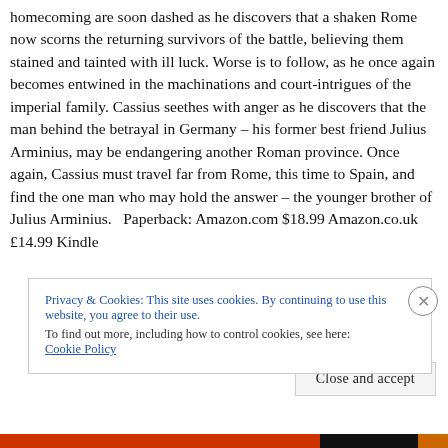homecoming are soon dashed as he discovers that a shaken Rome now scorns the returning survivors of the battle, believing them stained and tainted with ill luck. Worse is to follow, as he once again becomes entwined in the machinations and court-intrigues of the imperial family. Cassius seethes with anger as he discovers that the man behind the betrayal in Germany – his former best friend Julius Arminius, may be endangering another Roman province. Once again, Cassius must travel far from Rome, this time to Spain, and find the one man who may hold the answer – the younger brother of Julius Arminius.   Paperback: Amazon.com $18.99 Amazon.co.uk £14.99 Kindle
Privacy & Cookies: This site uses cookies. By continuing to use this website, you agree to their use. To find out more, including how to control cookies, see here: Cookie Policy
Close and accept